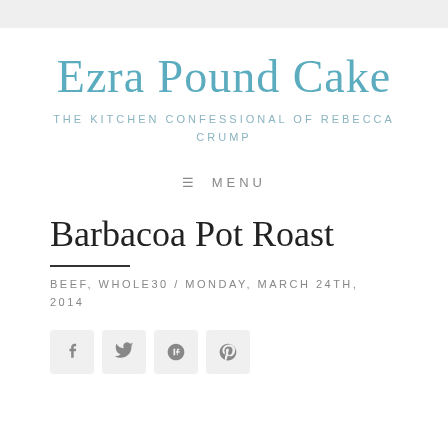Ezra Pound Cake
THE KITCHEN CONFESSIONAL OF REBECCA CRUMP
☰ MENU
Barbacoa Pot Roast
BEEF, WHOLE30 / MONDAY, MARCH 24TH, 2014
[Figure (other): Social sharing icons: Facebook, Twitter, Google+, Pinterest]